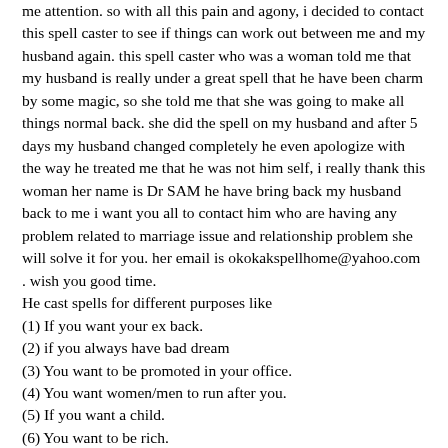me attention. so with all this pain and agony, i decided to contact this spell caster to see if things can work out between me and my husband again. this spell caster who was a woman told me that my husband is really under a great spell that he have been charm by some magic, so she told me that she was going to make all things normal back. she did the spell on my husband and after 5 days my husband changed completely he even apologize with the way he treated me that he was not him self, i really thank this woman her name is Dr SAM he have bring back my husband back to me i want you all to contact him who are having any problem related to marriage issue and relationship problem she will solve it for you. her email is okokakspellhome@yahoo.com . wish you good time.
He cast spells for different purposes like
(1) If you want your ex back.
(2) if you always have bad dream
(3) You want to be promoted in your office.
(4) You want women/men to run after you.
(5) If you want a child.
(6) You want to be rich.